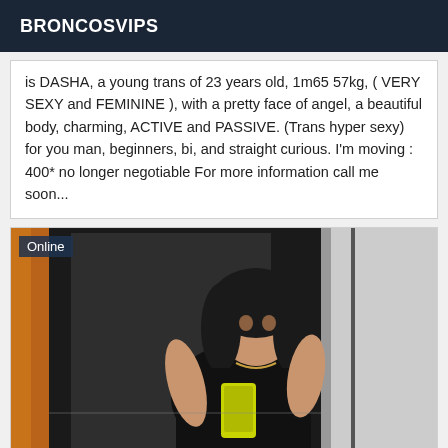BRONCOSVIPS
is DASHA, a young trans of 23 years old, 1m65 57kg, ( VERY SEXY and FEMININE ), with a pretty face of angel, a beautiful body, charming, ACTIVE and PASSIVE. (Trans hyper sexy) for you man, beginners, bi, and straight curious. I'm moving : 400* no longer negotiable For more information call me soon...
[Figure (photo): Woman taking a mirror selfie with a yellow smartphone, wearing dark clothing, with dark hair, in what appears to be a dressing room or store fitting area. An 'Online' badge is shown in the top left corner.]